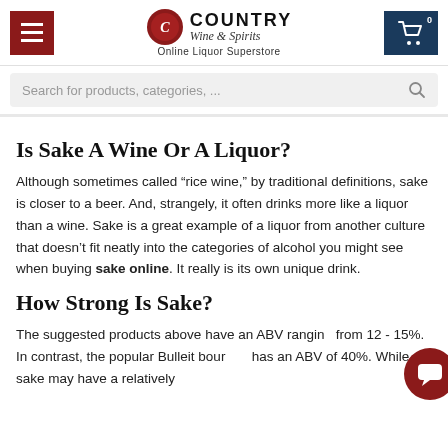Country Wine & Spirits — Online Liquor Superstore
Is Sake A Wine Or A Liquor?
Although sometimes called “rice wine,” by traditional definitions, sake is closer to a beer. And, strangely, it often drinks more like a liquor than a wine. Sake is a great example of a liquor from another culture that doesn’t fit neatly into the categories of alcohol you might see when buying sake online. It really is its own unique drink.
How Strong Is Sake?
The suggested products above have an ABV ranging from 12 - 15%. In contrast, the popular Bulleit bourbon has an ABV of 40%. While sake may have a relatively